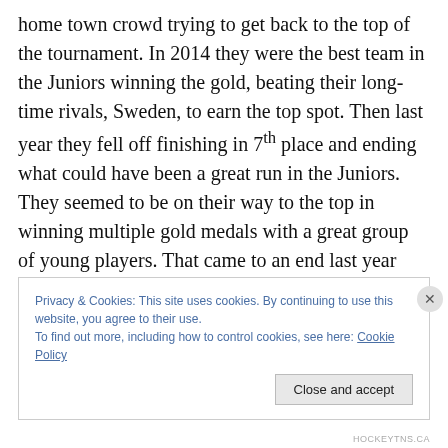home town crowd trying to get back to the top of the tournament. In 2014 they were the best team in the Juniors winning the gold, beating their long-time rivals, Sweden, to earn the top spot. Then last year they fell off finishing in 7th place and ending what could have been a great run in the Juniors. They seemed to be on their way to the top in winning multiple gold medals with a great group of young players. That came to an end last year when they disappointed in a big way as they look to reclaim that potential. They return this year with the weight of a country on their back but plenty of talent to make their
Privacy & Cookies: This site uses cookies. By continuing to use this website, you agree to their use.
To find out more, including how to control cookies, see here: Cookie Policy
Close and accept
HOCKEYTNS.CA